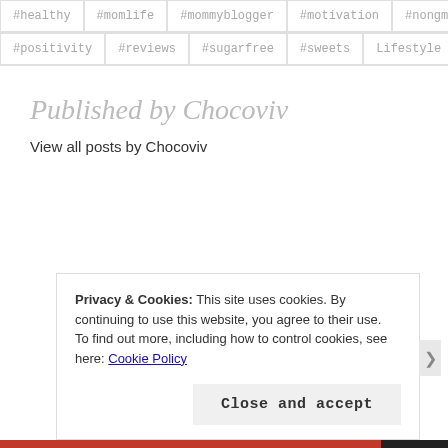#healthy #momlife #mommyblogger #motivation #nongmo
#positivity #reviews #sugarfree #sweets Lifestyle
Published by Chocoviv
View all posts by Chocoviv
Privacy & Cookies: This site uses cookies. By continuing to use this website, you agree to their use.
To find out more, including how to control cookies, see here: Cookie Policy
Close and accept